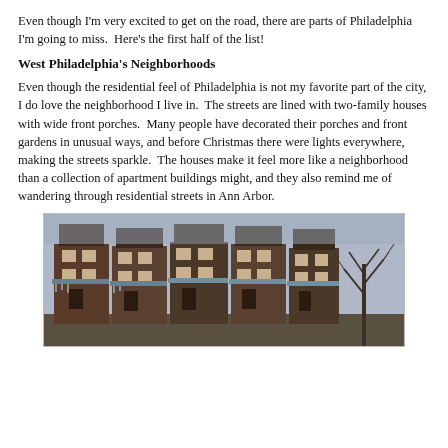Even though I'm very excited to get on the road, there are parts of Philadelphia I'm going to miss.  Here's the first half of the list!
West Philadelphia's Neighborhoods
Even though the residential feel of Philadelphia is not my favorite part of the city, I do love the neighborhood I live in.  The streets are lined with two-family houses with wide front porches.  Many people have decorated their porches and front gardens in unusual ways, and before Christmas there were lights everywhere, making the streets sparkle.  The houses make it feel more like a neighborhood than a collection of apartment buildings might, and they also remind me of wandering through residential streets in Ann Arbor.
[Figure (photo): Photograph of a row of two-family houses with wide front porches on a West Philadelphia street, with a bare tree visible on the right side.]